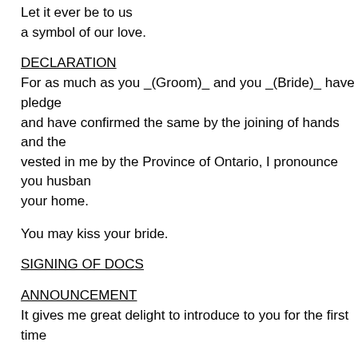Let it ever be to us
a symbol of our love.
DECLARATION
For as much as you _(Groom)_ and you _(Bride)_ have pledge and have confirmed the same by the joining of hands and the vested in me by the Province of Ontario, I pronounce you husban your home.
You may kiss your bride.
SIGNING OF DOCS
ANNOUNCEMENT
It gives me great delight to introduce to you for the first time
RECESSIONAL
Return to top